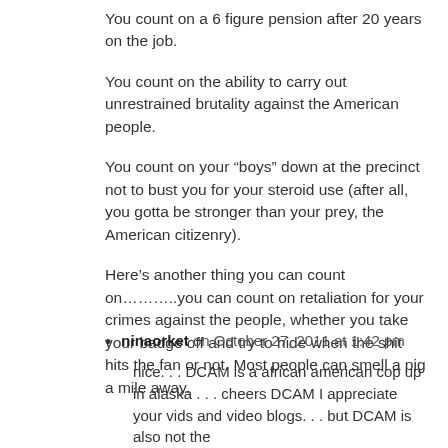You count on a 6 figure pension after 20 years on the job.
You count on the ability to carry out unrestrained brutality against the American people.
You count on your “boys” down at the precinct not to bust you for your steroid use (after all, you gotta be stronger than your prey, the American citizenry).
Here’s another thing you can count on………..you can count on retaliation for your crimes against the people, whether you take your badge off and try to hide when the shit hits the fan or not. Most people can smell a pig a mile away.
ninaorket on October 27, 2011 at 1:42 pm
nice. . . DCAM is a african american cop up in alaska . . . cheers DCAM I appreciate your vids and video blogs. . . but DCAM is also not the